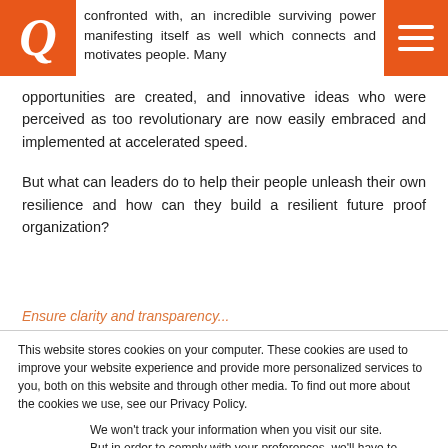Q [logo]
confronted with, an incredible surviving power manifesting itself as well which connects and motivates people. Many opportunities are created, and innovative ideas who were perceived as too revolutionary are now easily embraced and implemented at accelerated speed.
But what can leaders do to help their people unleash their own resilience and how can they build a resilient future proof organization?
Ensure clarity and transparency...
This website stores cookies on your computer. These cookies are used to improve your website experience and provide more personalized services to you, both on this website and through other media. To find out more about the cookies we use, see our Privacy Policy.
We won't track your information when you visit our site. But in order to comply with your preferences, we'll have to use just one tiny cookie so that you're not asked to make this choice again.
Accept | Decline